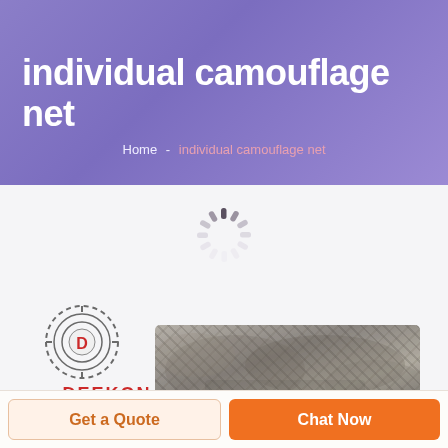individual camouflage net
Home  -  individual camouflage net
[Figure (illustration): Animated loading spinner (radial dashes pattern in gray)]
[Figure (logo): Deekon logo — circular target-style emblem with letter D, and DEEKON text in red below]
[Figure (photo): Product photo of camouflage net in gray-brown tones, folded/bundled]
Get a Quote
Chat Now